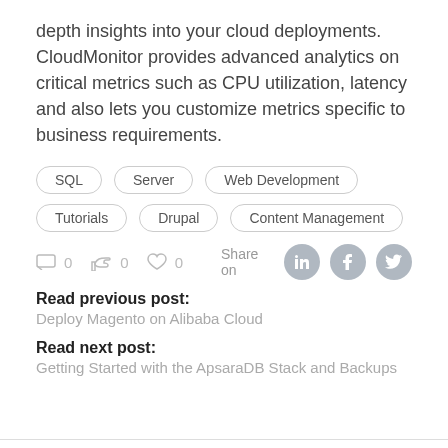depth insights into your cloud deployments. CloudMonitor provides advanced analytics on critical metrics such as CPU utilization, latency and also lets you customize metrics specific to business requirements.
SQL
Server
Web Development
Tutorials
Drupal
Content Management
0  0  0  Share on
Read previous post:
Deploy Magento on Alibaba Cloud
Read next post:
Getting Started with the ApsaraDB Stack and Backups